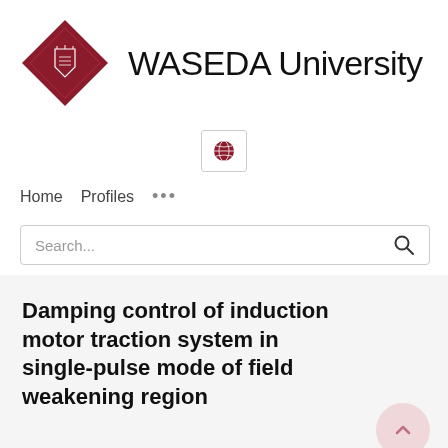[Figure (logo): Waseda University logo: dark red diamond shape with white crest, beside the text 'WASEDA University']
[Figure (other): Globe/language selector icon in a small bordered box]
Home    Profiles    ...
Search...
Damping control of induction motor traction system in single-pulse mode of field weakening region